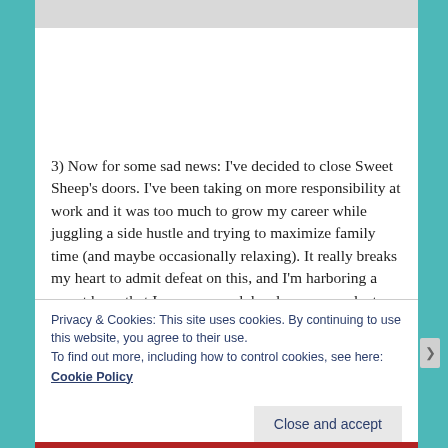[Figure (other): Gray image placeholder at the top of the page]
3) Now for some sad news: I've decided to close Sweet Sheep's doors. I've been taking on more responsibility at work and it was too much to grow my career while juggling a side hustle and trying to maximize family time (and maybe occasionally relaxing). It really breaks my heart to admit defeat on this, and I'm harboring a secret hope that I can open and develop new products
Privacy & Cookies: This site uses cookies. By continuing to use this website, you agree to their use.
To find out more, including how to control cookies, see here:
Cookie Policy
Close and accept